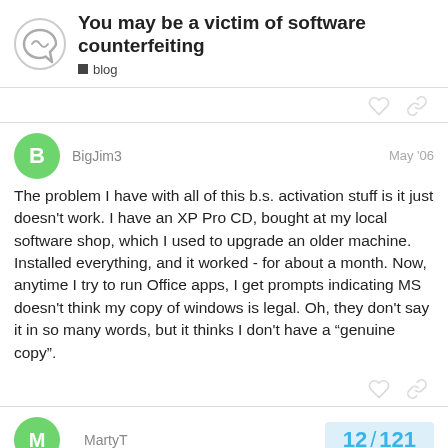You may be a victim of software counterfeiting | blog
BigJim3 — May '06
The problem I have with all of this b.s. activation stuff is it just doesn't work. I have an XP Pro CD, bought at my local software shop, which I used to upgrade an older machine. Installed everything, and it worked - for about a month. Now, anytime I try to run Office apps, I get prompts indicating MS doesn't think my copy of windows is legal. Oh, they don't say it in so many words, but it thinks I don't have a "genuine copy".
MartyT
12 / 121